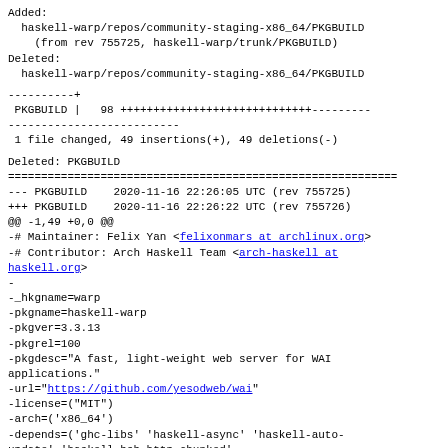Added:
  haskell-warp/repos/community-staging-x86_64/PKGBUILD
    (from rev 755725, haskell-warp/trunk/PKGBUILD)
Deleted:
  haskell-warp/repos/community-staging-x86_64/PKGBUILD
----------+
 PKGBUILD |   98 +++++++++++++++++++++++++++++---------
--------------------------
 1 file changed, 49 insertions(+), 49 deletions(-)
Deleted: PKGBUILD
=============================================================
--- PKGBUILD    2020-11-16 22:26:05 UTC (rev 755725)
+++ PKGBUILD    2020-11-16 22:26:22 UTC (rev 755726)
@@ -1,49 +0,0 @@
-# Maintainer: Felix Yan <felixonmars at archlinux.org>
-# Contributor: Arch Haskell Team <arch-haskell at 
haskell.org>
-
-_hkgname=warp
-pkgname=haskell-warp
-pkgver=3.3.13
-pkgrel=100
-pkgdesc="A fast, light-weight web server for WAI 
applications."
-url="https://github.com/yesodweb/wai"
-license=("MIT")
-arch=('x86_64')
-depends=('ghc-libs' 'haskell-async' 'haskell-auto-
update' 'haskell-bsb-http-chunked'